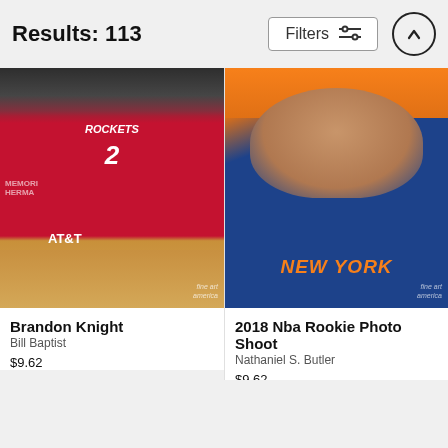Results: 113
[Figure (screenshot): Filters button with sliders icon and scroll-up arrow button in page header]
[Figure (photo): Houston Rockets player #2 dribbling basketball during game, AT&T arena signage visible, fine art america watermark]
Brandon Knight
Bill Baptist
$9.62
[Figure (photo): NBA rookie smiling in New York Knicks blue and orange jersey, 2018 NBA Rookie Photo Shoot, fine art america watermark]
2018 Nba Rookie Photo Shoot
Nathaniel S. Butler
$9.62